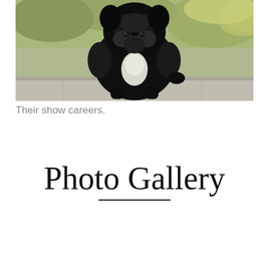[Figure (photo): A small black fluffy dog (likely a Scottish Terrier puppy) with a white chest patch, sitting on a light gray stone surface outdoors. Background shows green and yellow foliage out of focus.]
Their show careers.
Photo Gallery